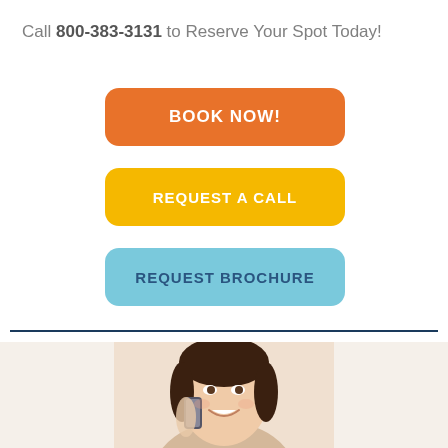Call 800-383-3131 to Reserve Your Spot Today!
BOOK NOW!
REQUEST A CALL
REQUEST BROCHURE
[Figure (photo): Woman smiling while talking on a phone, cropped at bottom of page]